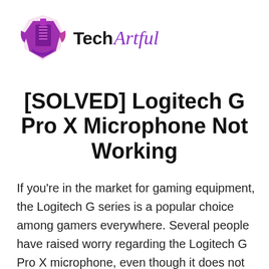[Figure (logo): TechArtful logo with purple geometric building/shield icon and text 'Tech' in bold black and 'Artful' in purple cursive script]
[SOLVED] Logitech G Pro X Microphone Not Working
If you're in the market for gaming equipment, the Logitech G series is a popular choice among gamers everywhere. Several people have raised worry regarding the Logitech G Pro X microphone, even though it does not appear to be malfunctioning. It is inconvenient to be unable to